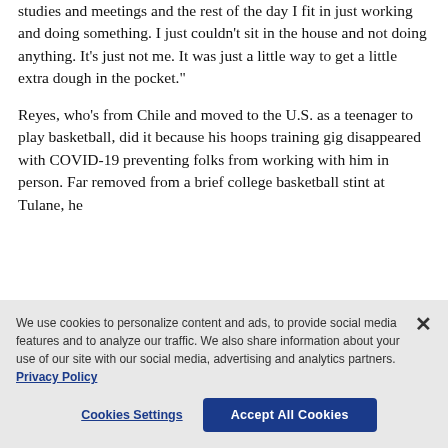studies and meetings and the rest of the day I fit in just working and doing something. I just couldn't sit in the house and not doing anything. It's just not me. It was just a little way to get a little extra dough in the pocket.”
Reyes, who’s from Chile and moved to the U.S. as a teenager to play basketball, did it because his hoops training gig disappeared with COVID-19 preventing folks from working with him in person. Far removed from a brief college basketball stint at Tulane, he
We use cookies to personalize content and ads, to provide social media features and to analyze our traffic. We also share information about your use of our site with our social media, advertising and analytics partners. Privacy Policy
Cookies Settings | Accept All Cookies